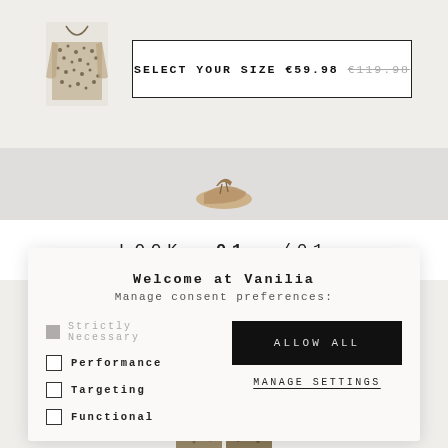[Figure (photo): Small thumbnail of a patterned jacket/blouse item]
SELECT YOUR SIZE €59.98 €119.98
[Figure (photo): Partial image of shoes/sandals on gray background]
LOOK 01 /01
Welcome at Vanilia
Manage consent preferences:
Strictly Necessary
Performance
Targeting
Functional
ALLOW ALL
MANAGE SETTINGS
[Figure (photo): Two small product thumbnails at bottom of page]